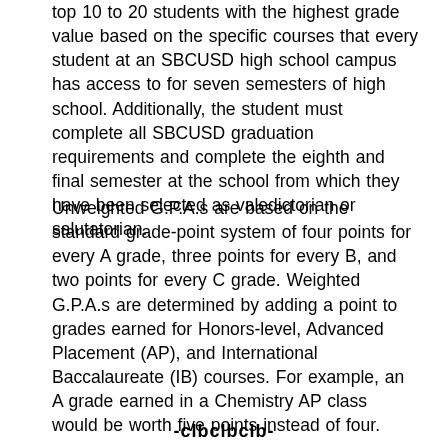top 10 to 20 students with the highest grade value based on the specific courses that every student at an SBCUSD high school campus has access to for seven semesters of high school. Additionally, the student must complete all SBCUSD graduation requirements and complete the eighth and final semester at the school from which they have been selected as valedictorian or salutatorian.
Unweighted G.P.A.s are based on the standard grade-point system of four points for every A grade, three points for every B, and two points for every C grade. Weighted G.P.A.s are determined by adding a point to grades earned for Honors-level, Advanced Placement (AP), and International Baccalaureate (IB) courses. For example, an A grade earned in a Chemistry AP class would be worth five points instead of four.
-clbclbclb-